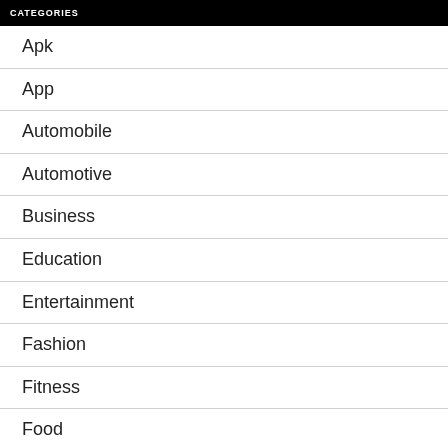CATEGORIES
Apk
App
Automobile
Automotive
Business
Education
Entertainment
Fashion
Fitness
Food
Gadget